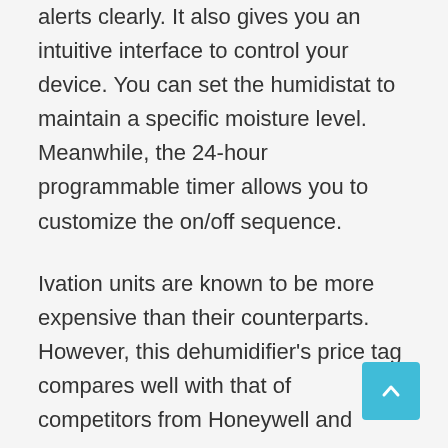alerts clearly. It also gives you an intuitive interface to control your device. You can set the humidistat to maintain a specific moisture level. Meanwhile, the 24-hour programmable timer allows you to customize the on/off sequence.
Ivation units are known to be more expensive than their counterparts. However, this dehumidifier's price tag compares well with that of competitors from Honeywell and